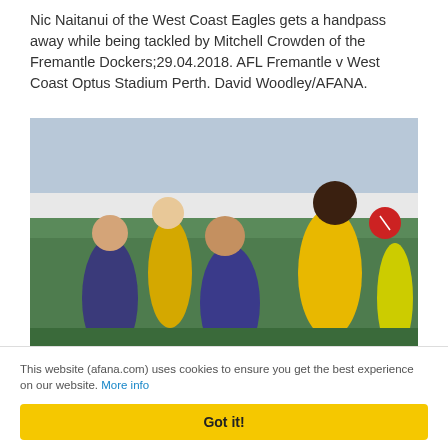Nic Naitanui of the West Coast Eagles gets a handpass away while being tackled by Mitchell Crowden of the Fremantle Dockers;29.04.2018. AFL Fremantle v West Coast Optus Stadium Perth. David Woodley/AFANA.
[Figure (photo): Action photo of an AFL football match. A West Coast Eagles player (Nic Naitanui) in yellow and blue jersey holds a red ball while being tackled by Fremantle Dockers players in purple jerseys. Players and crowd visible in background.]
This website (afana.com) uses cookies to ensure you get the best experience on our website. More info
Got it!